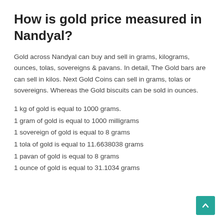How is gold price measured in Nandyal?
Gold across Nandyal can buy and sell in grams, kilograms, ounces, tolas, sovereigns & pavans. In detail, The Gold bars are can sell in kilos. Next Gold Coins can sell in grams, tolas or sovereigns. Whereas the Gold biscuits can be sold in ounces.
1 kg of gold is equal to 1000 grams.
1 gram of gold is equal to 1000 milligrams
1 sovereign of gold is equal to 8 grams
1 tola of gold is equal to 11.6638038 grams
1 pavan of gold is equal to 8 grams
1 ounce of gold is equal to 31.1034 grams